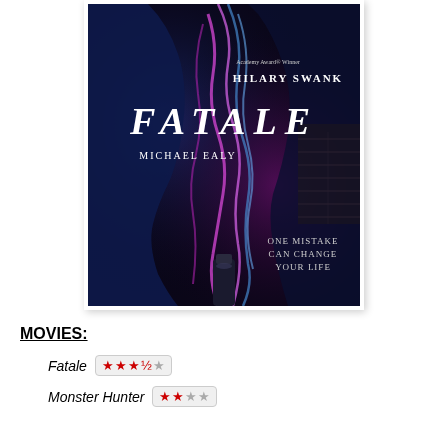[Figure (photo): Movie poster for 'Fatale' featuring two faces in profile with purple and blue smoke/light effects on a dark background. Text reads: Academy Award Winner, HILARY SWANK, FATALE, MICHAEL EALY, ONE MISTAKE CAN CHANGE YOUR LIFE.]
MOVIES:
Fatale ★★★½☆
Monster Hunter ★★☆☆